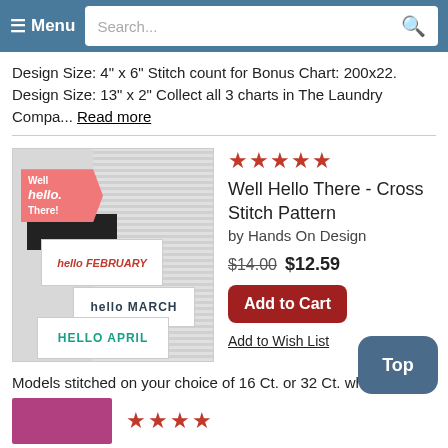≡ Menu  Search...
Design Size: 4" x 6" Stitch count for Bonus Chart: 200x22. Design Size: 13" x 2" Collect all 3 charts in The Laundry Compa... Read more
[Figure (photo): Product photo showing cross stitch patterns for February, March, and April with a 'Well Hello There!' banner]
★★★★★
Well Hello There - Cross Stitch Pattern
by Hands On Design
$14.00 $12.59
Add to Cart
Add to Wish List
Models stitched on your choice of 16 Ct. or 32 Ct. white fabric using DMC floss. Each done on a 9x9 size cut. Patterns for "Hello" January through December. Each month features a different button pack.
[Figure (photo): Partial image at bottom of page (next product)]
★★★★